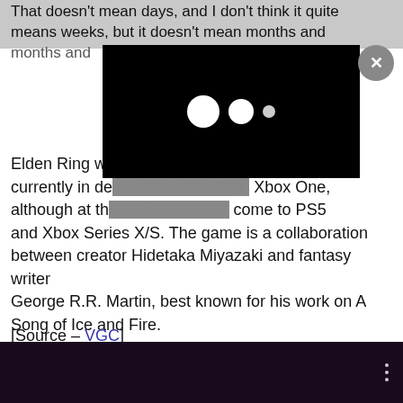That doesn't mean days, and I don't think it quite means weeks, but it doesn't mean months and months and
[Figure (other): Video player modal overlay with loading dots and close (x) button on dark background]
Elden Ring was [partially obscured] and is currently in de[velopment for PS4 and] Xbox One, although at th[e time it was confirmed to] come to PS5 and Xbox Series X/S. The game is a collaboration between creator Hidetaka Miyazaki and fantasy writer George R.R. Martin, best known for his work on A Song of Ice and Fire.
[Source – VGC]
[Figure (screenshot): Dark bottom image strip showing a dark scene, with three vertical dots icon on the right side]